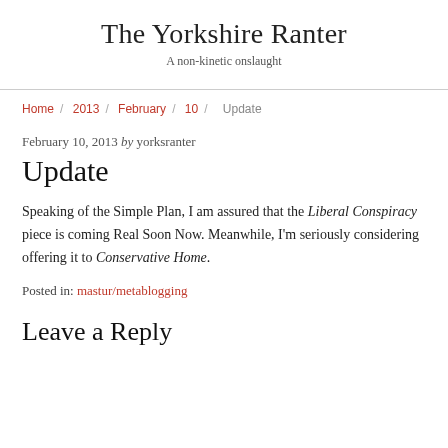The Yorkshire Ranter
A non-kinetic onslaught
Home / 2013 / February / 10 / Update
February 10, 2013 by yorksranter
Update
Speaking of the Simple Plan, I am assured that the Liberal Conspiracy piece is coming Real Soon Now. Meanwhile, I'm seriously considering offering it to Conservative Home.
Posted in: mastur/metablogging
Leave a Reply